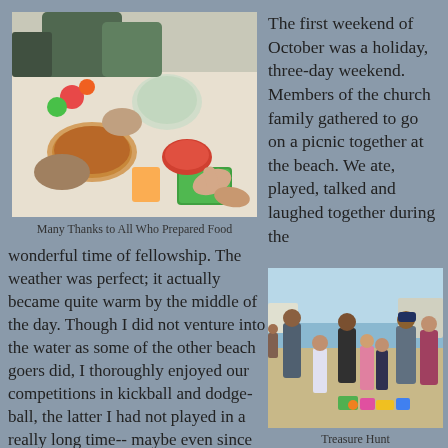[Figure (photo): Overhead view of picnic table with food containers, bowls, and people's hands reaching for food]
Many Thanks to All Who Prepared Food
The first weekend of October was a holiday, three-day weekend. Members of the church family gathered to go on a picnic together at the beach. We ate, played, talked and laughed together during the
wonderful time of fellowship. The weather was perfect; it actually became quite warm by the middle of the day. Though I did not venture into the water as some of the other beach goers did, I thoroughly enjoyed our competitions in kickball and dodge-ball, the latter I had not played in a really long time-- maybe even since high school gym class. How much time has passed since those days!
[Figure (photo): Group of adults and children standing on a beach with toys and items on the ground, appearing to be a treasure hunt activity]
Treasure Hunt